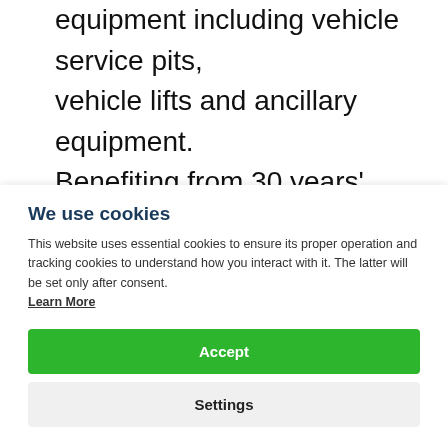equipment including vehicle service pits, vehicle lifts and ancillary equipment. Benefiting from 30 years' experience, excellent relationships with recommended manufacturers and with unmatched industry knowledge, our
We use cookies
This website uses essential cookies to ensure its proper operation and tracking cookies to understand how you interact with it. The latter will be set only after consent. Learn More
Accept
Settings